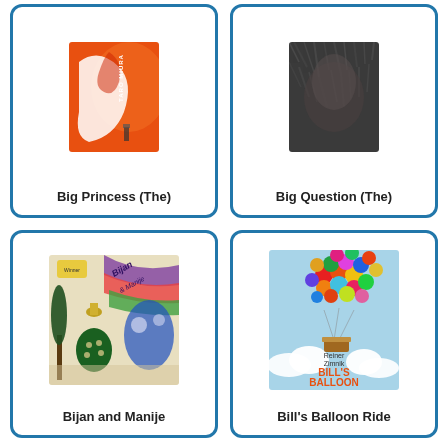[Figure (illustration): Book cover for 'Big Princess (The)' - orange cover with stylized design and 'TARO MIURA' text]
Big Princess (The)
[Figure (illustration): Book cover for 'Big Question (The)' - dark textured animal fur cover]
Big Question (The)
[Figure (illustration): Book cover for 'Bijan and Manije' - colorful illustrated cover with figures and text 'Bijan & Manije']
Bijan and Manije
[Figure (illustration): Book cover for 'Bill's Balloon Ride' by Reiner Zimnik - shows colorful balloons in sky with text in orange]
Bill's Balloon Ride